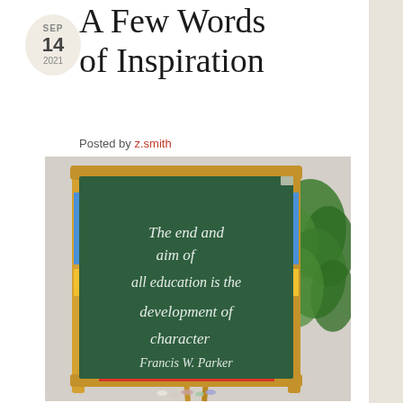A Few Words of Inspiration
Posted by z.smith
[Figure (photo): A wooden chalkboard easel with a green chalkboard surface. Written in white chalk: 'The end and aim of all education is the development of character – Francis W. Parker'. A green plant is visible in the background.]